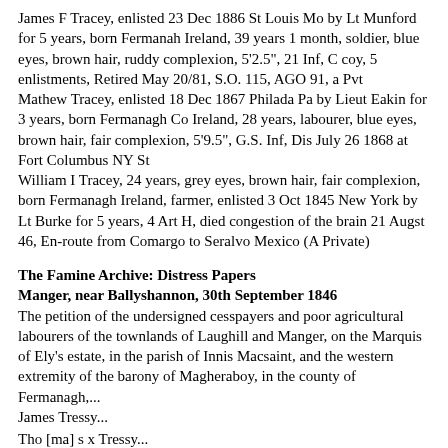James F Tracey, enlisted 23 Dec 1886 St Louis Mo by Lt Munford for 5 years, born Fermanah Ireland, 39 years 1 month, soldier, blue eyes, brown hair, ruddy complexion, 5'2.5", 21 Inf, C coy, 5 enlistments, Retired May 20/81, S.O. 115, AGO 91, a Pvt
Mathew Tracey, enlisted 18 Dec 1867 Philada Pa by Lieut Eakin for 3 years, born Fermanagh Co Ireland, 28 years, labourer, blue eyes, brown hair, fair complexion, 5'9.5", G.S. Inf, Dis July 26 1868 at Fort Columbus NY St
William I Tracey, 24 years, grey eyes, brown hair, fair complexion, born Fermanagh Ireland, farmer, enlisted 3 Oct 1845 New York by Lt Burke for 5 years, 4 Art H, died congestion of the brain 21 Augst 46, En-route from Comargo to Seralvo Mexico (A Private)
The Famine Archive: Distress Papers
Manger, near Ballyshannon, 30th September 1846
The petition of the undersigned cesspayers and poor agricultural labourers of the townlands of Laughill and Manger, on the Marquis of Ely's estate, in the parish of Innis Macsaint, and the western extremity of the barony of Magheraboy, in the county of Fermanagh,...
James Tressy...
Tho [ma] s x Tressy...
[February 1847]...other inhabitants of the barony of Magheraboy in the county of Fermanagh, that a certain presentment was passed at the extraordinary presenment sessions held at Derrygonnelly in